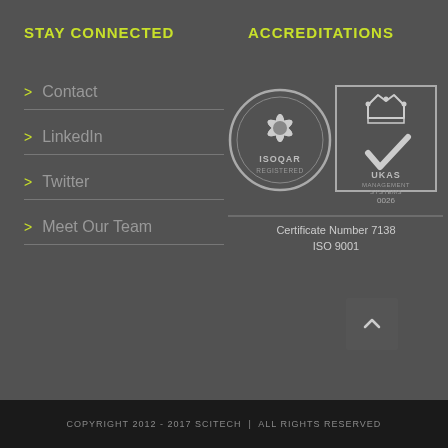STAY CONNECTED
> Contact
> LinkedIn
> Twitter
> Meet Our Team
ACCREDITATIONS
[Figure (logo): ISOQAR Registered badge and UKAS Management Systems 0026 badge with text: Certificate Number 7138 ISO 9001]
COPYRIGHT 2012 - 2017 SCITECH | ALL RIGHTS RESERVED